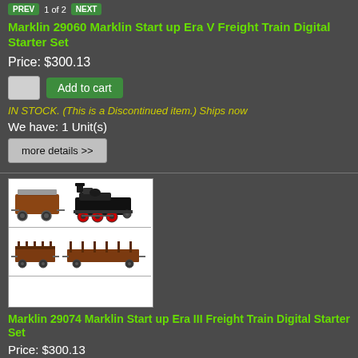PREV 1 of 2 NEXT
Marklin 29060 Marklin Start up Era V Freight Train Digital Starter Set
Price: $300.13
Add to cart
IN STOCK. (This is a Discontinued item.) Ships now
We have: 1 Unit(s)
more details >>
[Figure (photo): Product image showing model train set with steam locomotive and freight cars in two image rows, plus a blank white row]
Marklin 29074 Marklin Start up Era III Freight Train Digital Starter Set
Price: $300.13